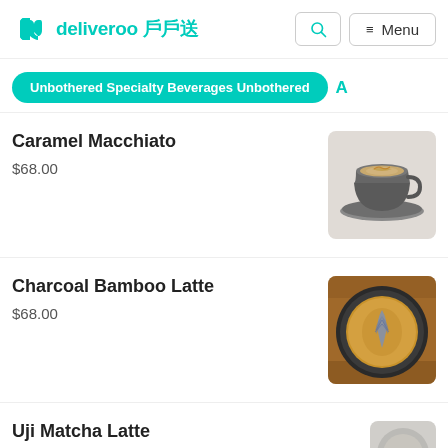deliveroo 戶戶送
Unbothered Specialty Beverages Unbothered
Caramel Macchiato
$68.00
[Figure (photo): A caramel macchiato in a grey cup on a grey saucer, viewed from a slight angle, on a white marble surface]
Charcoal Bamboo Latte
$68.00
[Figure (photo): A charcoal bamboo latte viewed from above, in a dark cup on a wooden surface, with decorative blue-grey latte art leaf/heart pattern]
Uji Matcha Latte
$68.00
[Figure (photo): A matcha latte partially visible at bottom of page]